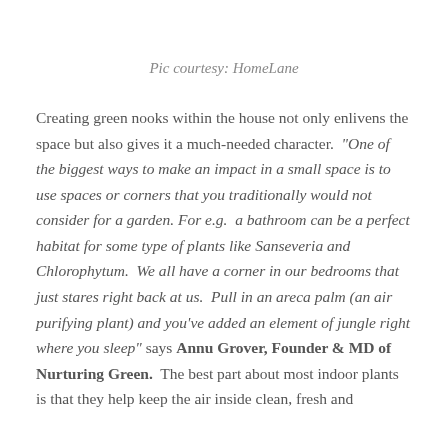Pic courtesy: HomeLane
Creating green nooks within the house not only enlivens the space but also gives it a much-needed character.  "One of the biggest ways to make an impact in a small space is to use spaces or corners that you traditionally would not consider for a garden. For e.g.  a bathroom can be a perfect habitat for some type of plants like Sanseveria and Chlorophytum.  We all have a corner in our bedrooms that just stares right back at us.  Pull in an areca palm (an air purifying plant) and you've added an element of jungle right where you sleep" says Annu Grover, Founder & MD of Nurturing Green.  The best part about most indoor plants is that they help keep the air inside clean, fresh and